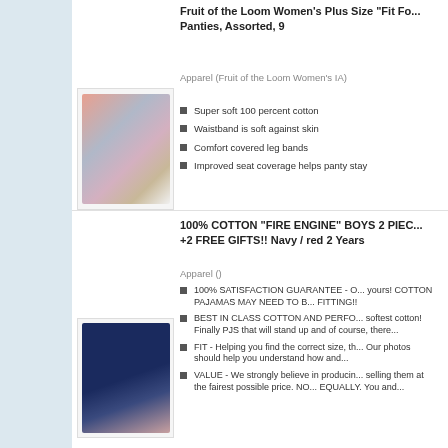Fruit of the Loom Women's Plus Size "Fit Fo... Panties, Assorted, 9
Apparel (Fruit of the Loom Women's IA)
[Figure (photo): Fruit of the Loom women's panties product image showing assorted colors]
Super soft 100 percent cotton
Waistband is soft against skin
Comfort covered leg bands
Improved seat coverage helps panty stay
100% COTTON "FIRE ENGINE" BOYS 2 PIEC... +2 FREE GIFTS!! Navy / red 2 Years
Apparel ()
[Figure (photo): Boys navy fire engine pajamas product image]
100% SATISFACTION GUARANTEE - O... yours! COTTON PAJAMAS MAY NEED TO B... FITTING!!
BEST IN CLASS COTTON AND PERFO... softest cotton! Finally PJS that will stand up and of course, there...
FIT - Helping you find the correct size, th... Our photos should help you understand how and...
VALUE - We strongly believe in producin... selling them at the fairest possible price. NO... EQUALLY. You and...